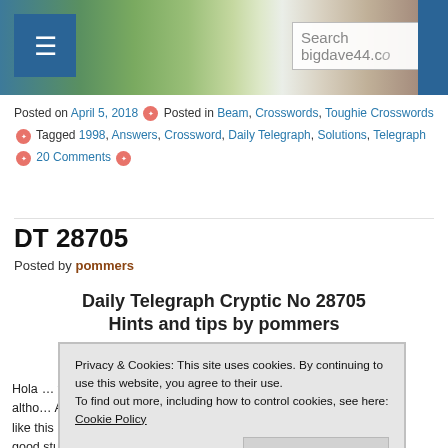[Figure (photo): Website header banner showing countryside/rural landscape with hills and buildings, blue navigation bar with hamburger menu icon and search box]
Posted on April 5, 2018 ✦ Posted in Beam, Crosswords, Toughie Crosswords ✦ Tagged 1998, Answers, Crossword, Daily Telegraph, Solutions, Telegraph ✦ 20 Comments ✦
DT 28705
Posted by pommers
Daily Telegraph Cryptic No 28705 Hints and tips by pommers
Privacy & Cookies: This site uses cookies. By continuing to use this website, you agree to their use.
To find out more, including how to control cookies, see here: Cookie Policy
Close and accept
Hola … young, altho… A bit like this puzzle really. It's not particularly difficult and there's some good stuff but also a lot of repetition of bits of wordplay. For example, there are three clues where you're given some anagram fodder but you